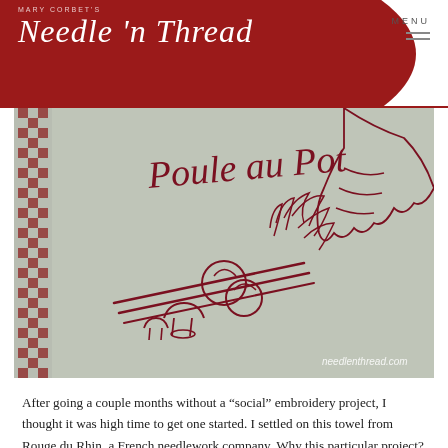MARY CORBET'S Needle 'n Thread
[Figure (photo): Close-up photograph of an embroidery towel showing 'Poule au Pot' in script with red embroidery of vegetables including leeks, mushrooms, and other produce on a light linen/cotton fabric with a checkered border stripe. Watermark: needlenthread.com]
After going a couple months without a “social” embroidery project, I thought it was high time to get one started. I settled on this towel from Rouge du Rhin, a French needlework company. Why this particular project? Well, I didn’t have to do any set-up work on it – it’s a coarse weave cotton towel with the design already stamped on it. It’s also a good excuse to “test stitch” in one. I want to mention this product on Needle ‘n Thread